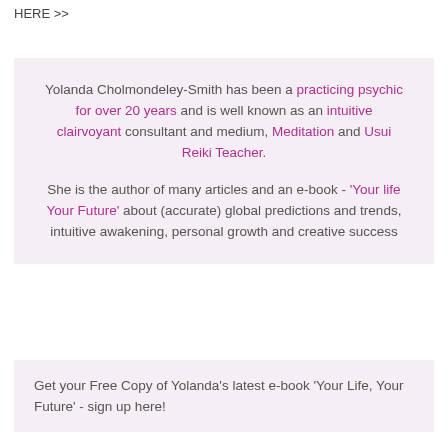HERE >>
Yolanda Cholmondeley-Smith has been a practicing psychic for over 20 years and is well known as an intuitive clairvoyant consultant and medium, Meditation and Usui Reiki Teacher. She is the author of many articles and an e-book - 'Your life Your Future' about (accurate) global predictions and trends, intuitive awakening, personal growth and creative success
Get your Free Copy of Yolanda's latest e-book 'Your Life, Your Future' - sign up here!